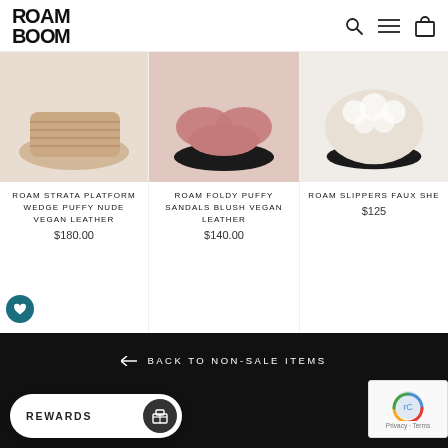[Figure (logo): ROAM BOOM brand logo in bold black geometric lettering]
[Figure (screenshot): Three product images of shoes partially visible at top of page: nude wedge platform sandal, pink puffy foldy sandals, cream faux shearling slipper]
ROAM STRATA PLATFORM WEDGE PUFFY NUDE VEGAN LEATHER
$180.00
ROAM FOLDY PUFFY SANDALS BLUSH VEGAN LEATHER
$140.00
ROAM SLIPPERS FAUX SHE
$125
← BACK TO NON-SALE ITEMS
REWARDS